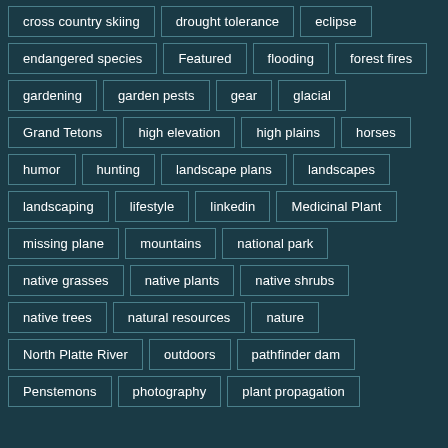cross country skiing
drought tolerance
eclipse
endangered species
Featured
flooding
forest fires
gardening
garden pests
gear
glacial
Grand Tetons
high elevation
high plains
horses
humor
hunting
landscape plans
landscapes
landscaping
lifestyle
linkedin
Medicinal Plant
missing plane
mountains
national park
native grasses
native plants
native shrubs
native trees
natural resources
nature
North Platte River
outdoors
pathfinder dam
Penstemons
photography
plant propagation